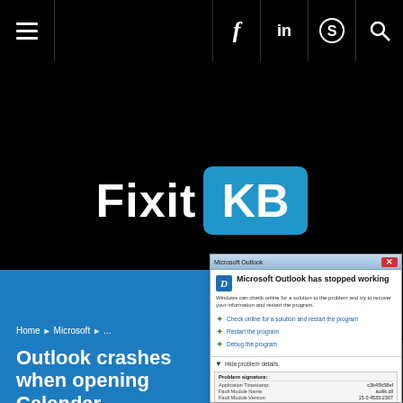Fixit KB
Menu
[Figure (screenshot): Microsoft Outlook has stopped working dialog box showing options: Check online for a solution and restart the program, Restart the program, Debug the program, with problem details expanded showing Application Timestamp, Fault Module Name, Fault Module Version, Fault Module Timestamp, Exception Code]
Home ► Microsoft ► ...
Outlook crashes when opening Calendar